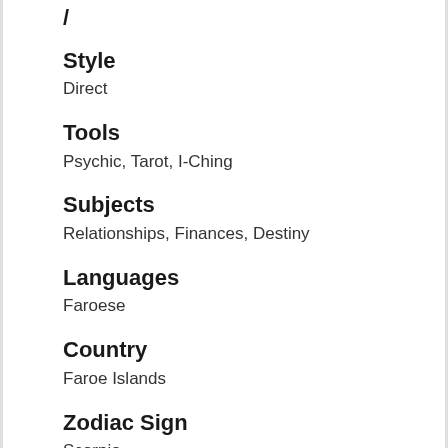/
Style
Direct
Tools
Psychic, Tarot, I-Ching
Subjects
Relationships, Finances, Destiny
Languages
Faroese
Country
Faroe Islands
Zodiac Sign
Scorpio
Just .99 cent/min